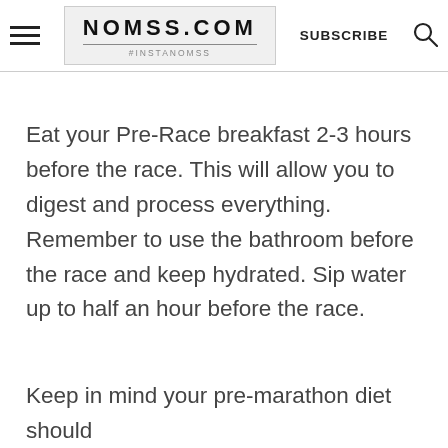NOMSS.COM #INSTANOMSS — SUBSCRIBE
Eat your Pre-Race breakfast 2-3 hours before the race. This will allow you to digest and process everything. Remember to use the bathroom before the race and keep hydrated. Sip water up to half an hour before the race.
Keep in mind your pre-marathon diet should